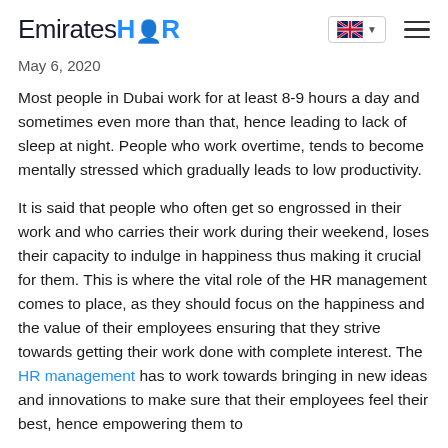EmiratesHR
May 6, 2020
Most people in Dubai work for at least 8-9 hours a day and sometimes even more than that, hence leading to lack of sleep at night. People who work overtime, tends to become mentally stressed which gradually leads to low productivity.
It is said that people who often get so engrossed in their work and who carries their work during their weekend, loses their capacity to indulge in happiness thus making it crucial for them. This is where the vital role of the HR management comes to place, as they should focus on the happiness and the value of their employees ensuring that they strive towards getting their work done with complete interest. The HR management has to work towards bringing in new ideas and innovations to make sure that their employees feel their best, hence empowering them to